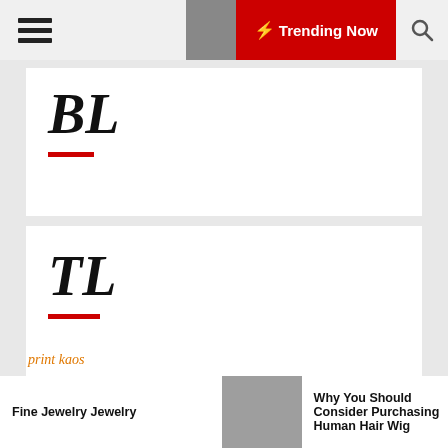BL | ☾ ⚡ Trending Now 🔍
[Figure (logo): BL logo text in bold italic serif font with red underline bar]
[Figure (logo): TL logo text in bold italic serif font with red underline bar]
[Figure (logo): Intellifluence Trusted Blogger badge - blue circular badge with yellow ribbon banner]
print kaos
Fine Jewelry Jewelry
Why You Should Consider Purchasing Human Hair Wig